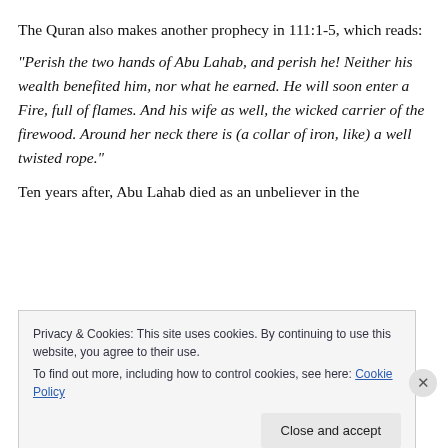The Quran also makes another prophecy in 111:1-5, which reads:
“Perish the two hands of Abu Lahab, and perish he! Neither his wealth benefited him, nor what he earned. He will soon enter a Fire, full of flames. And his wife as well, the wicked carrier of the firewood. Around her neck there is (a collar of iron, like) a well twisted rope.”
Ten years after, Abu Lahab died as an unbeliever in the
Privacy & Cookies: This site uses cookies. By continuing to use this website, you agree to their use.
To find out more, including how to control cookies, see here: Cookie Policy